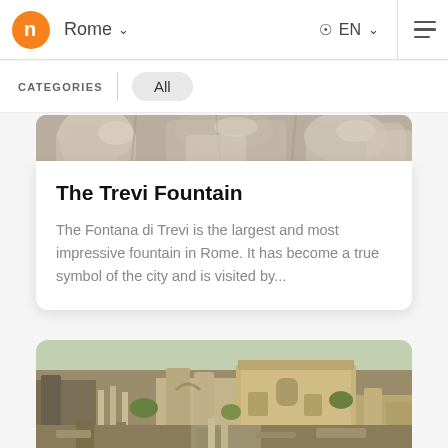Rome  EN
CATEGORIES  All
[Figure (photo): Partial view of Trevi Fountain sculpture detail — stone figures and decorative elements, cropped top portion]
The Trevi Fountain
The Fontana di Trevi is the largest and most impressive fountain in Rome. It has become a true symbol of the city and is visited by...
[Figure (photo): Aerial/elevated view of the Roman Forum ruins — ancient columns, arches, historic buildings and ruins with green trees visible]